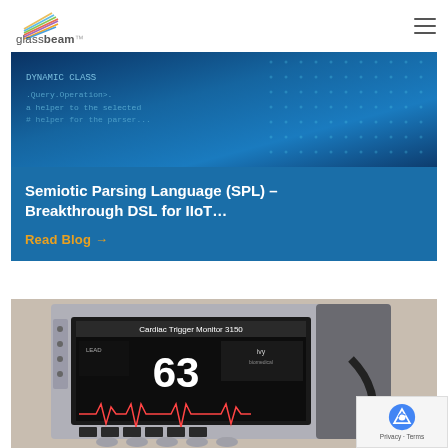[Figure (logo): Glassbeam logo with colorful diagonal lines and company name]
[Figure (screenshot): Blue technology/code background image with data visualization elements]
Semiotic Parsing Language (SPL) – Breakthrough DSL for IIoT...
Read Blog →
[Figure (photo): Cardiac Trigger Monitor 3150 medical device showing heart rate 63, Ivy brand, with ECG waveform display]